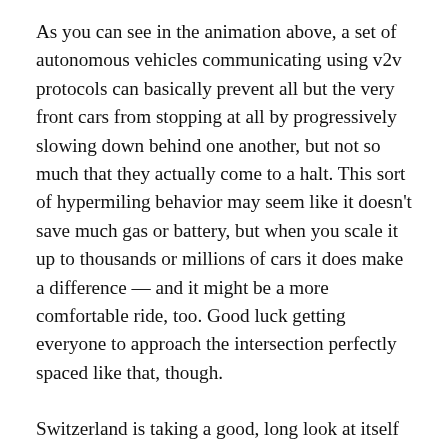As you can see in the animation above, a set of autonomous vehicles communicating using v2v protocols can basically prevent all but the very front cars from stopping at all by progressively slowing down behind one another, but not so much that they actually come to a halt. This sort of hypermiling behavior may seem like it doesn't save much gas or battery, but when you scale it up to thousands or millions of cars it does make a difference — and it might be a more comfortable ride, too. Good luck getting everyone to approach the intersection perfectly spaced like that, though.
Switzerland is taking a good, long look at itself — using 3D scanning tech. The country is making a huge map using UAVs equipped with lidar and other tools, but there's a catch: the movement of the drone (deliberate and accidental) introduces error into the point map that needs to be manually corrected. Not a problem if you're just scanning a single building, but an entire